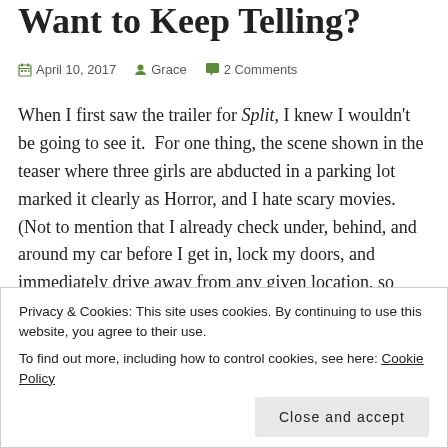Want to Keep Telling?
April 10, 2017 · Grace · 2 Comments
When I first saw the trailer for Split, I knew I wouldn't be going to see it. For one thing, the scene shown in the teaser where three girls are abducted in a parking lot marked it clearly as Horror, and I hate scary movies. (Not to mention that I already check under, behind, and around my car before I get in, lock my doors, and immediately drive away from any given location, so thank you Hollywood for reinforcing my paranoid safety check.) Then there was James McAvoy's character, who apparently is yet another example of Hollywood's fascination with (and
Privacy & Cookies: This site uses cookies. By continuing to use this website, you agree to their use.
To find out more, including how to control cookies, see here: Cookie Policy
Close and accept